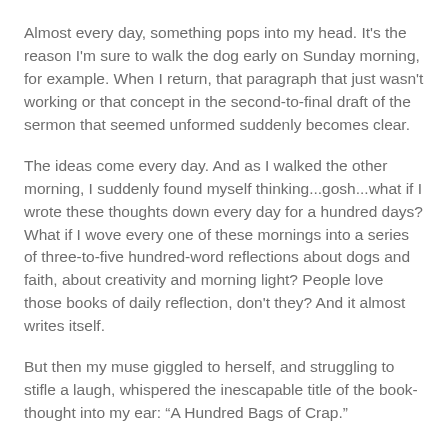Almost every day, something pops into my head.  It's the reason I'm sure to walk the dog early on Sunday morning, for example.  When I return, that paragraph that just wasn't working or that concept in the second-to-final draft of the sermon that seemed unformed suddenly becomes clear.
The ideas come every day.  And as I walked the other morning, I suddenly found myself thinking...gosh...what if I wrote these thoughts down every day for a hundred days?  What if I wove every one of these mornings into a series of three-to-five hundred-word reflections about dogs and faith, about creativity and morning light?  People love those books of daily reflection, don't they?  And it almost writes itself.
But then my muse giggled to herself, and struggling to stifle a laugh, whispered the inescapable title of the book-thought into my ear: "A Hundred Bags of Crap."
Hmm.   Not quite sure that'd ever find it's way to any Christian bookstore shelves.